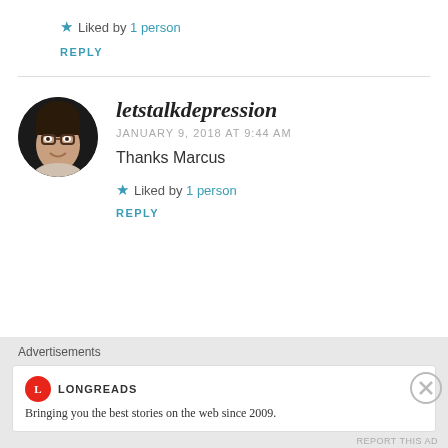★ Liked by 1 person
REPLY
letstalkdepression
JANUARY 9, 2018 AT 9:44 AM
Thanks Marcus
★ Liked by 1 person
REPLY
Advertisements
LONGREADS
Bringing you the best stories on the web since 2009.